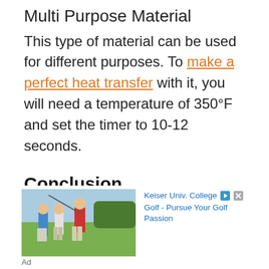Multi Purpose Material
This type of material can be used for different purposes. To make a perfect heat transfer with it, you will need a temperature of 350°F and set the timer to 10-12 seconds.
Conclusion
This information can be overwhelming, especially if you are new to this. But
[Figure (photo): Advertisement showing three golfers on a golf course. Ad text: Keiser Univ. College Golf - Pursue Your Golf Passion]
Ad